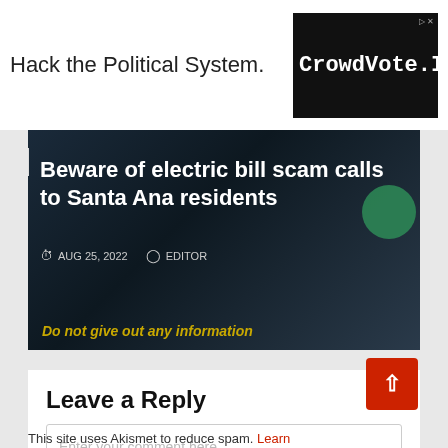Hack the Political System.
[Figure (screenshot): CrowdVote.IO advertisement on black background]
[Figure (photo): Article card with dark background phone image. Headline: Beware of electric bill scam calls to Santa Ana residents. Date: AUG 25, 2022. Author: EDITOR. Warning text: Do not give out any information]
Leave a Reply
Enter your comment here...
This site uses Akismet to reduce spam. Learn